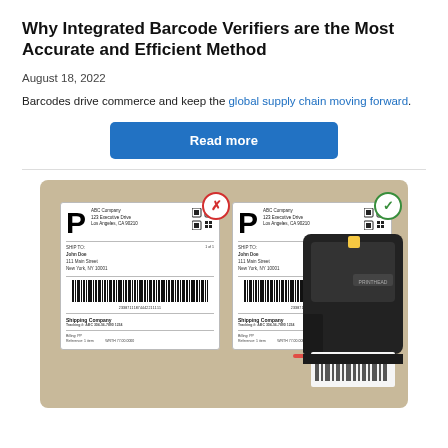Why Integrated Barcode Verifiers are the Most Accurate and Efficient Method
August 18, 2022
Barcodes drive commerce and keep the global supply chain moving forward.
Read more
[Figure (photo): Two shipping labels side by side on a cardboard background. The left label has a red X badge indicating a failed barcode scan, and the right label has a green checkmark badge indicating a passed scan. Both labels show 'P' for priority, ABC Company address, John Doe at 111 Main Street New York NY, a linear barcode numbered 23387111874442211111, and Shipping Company information. A black industrial barcode printer/verifier is shown on the right side with a red laser beam scanning a label being printed.]